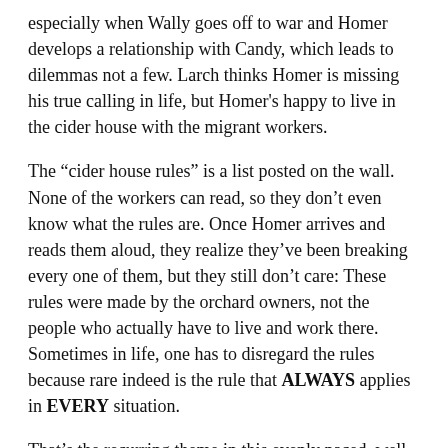especially when Wally goes off to war and Homer develops a relationship with Candy, which leads to dilemmas not a few. Larch thinks Homer is missing his true calling in life, but Homer's happy to live in the cider house with the migrant workers.
The “cider house rules” is a list posted on the wall. None of the workers can read, so they don’t even know what the rules are. Once Homer arrives and reads them aloud, they realize they’ve been breaking every one of them, but they still don’t care: These rules were made by the orchard owners, not the people who actually have to live and work there. Sometimes in life, one has to disregard the rules because rare indeed is the rule that ALWAYS applies in EVERY situation.
That’s the recurring theme in this evenly paced, well-crafted film. Sometimes a lie is OK. Sometimes an abortion is OK. Sometimes what we’ve been taught is